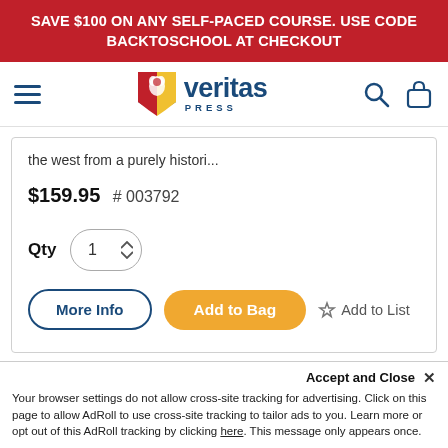SAVE $100 ON ANY SELF-PACED COURSE. USE CODE BACKTOSCHOOL AT CHECKOUT
[Figure (logo): Veritas Press logo with shield and eagle]
the west from a purely histori...
$159.95  # 003792
Qty  1
More Info  Add to Bag  Add to List
Accept and Close ×
Your browser settings do not allow cross-site tracking for advertising. Click on this page to allow AdRoll to use cross-site tracking to tailor ads to you. Learn more or opt out of this AdRoll tracking by clicking here. This message only appears once.